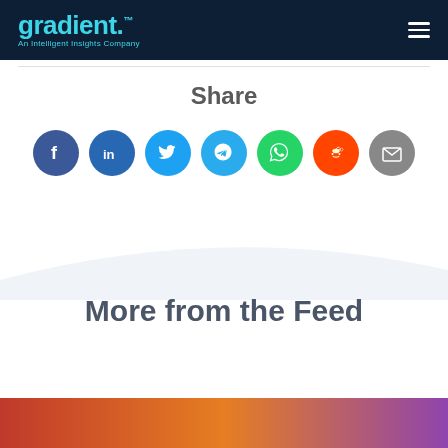gradient. An Intelligent Insights Company
Share
[Figure (infographic): Row of seven social media share buttons: Facebook (dark blue circle), LinkedIn (blue circle), Twitter (light blue circle), Telegram (cyan/light blue circle), WhatsApp (green circle), Reddit (orange-red circle), Email (gray circle)]
More from the Feed